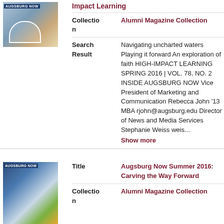[Figure (photo): Thumbnail image of Augsburg Now magazine cover with outdoor city/arch scene]
Impact Learning
Collection
Alumni Magazine Collection
Search Result
Navigating uncharted waters Playing it forward An exploration of faith HIGH-IMPACT LEARNING SPRING 2016 | VOL. 78, NO. 2 INSIDE AUGSBURG NOW Vice President of Marketing and Communication Rebecca John '13 MBA rjohn@augsburg.edu Director of News and Media Services Stephanie Weiss weis...
Show more
[Figure (photo): Thumbnail image of Augsburg Now Summer 2016 magazine cover with crowd/outdoor scene]
Title
Augsburg Now Summer 2016: Carving the Way Forward
Collection
Alumni Magazine Collection